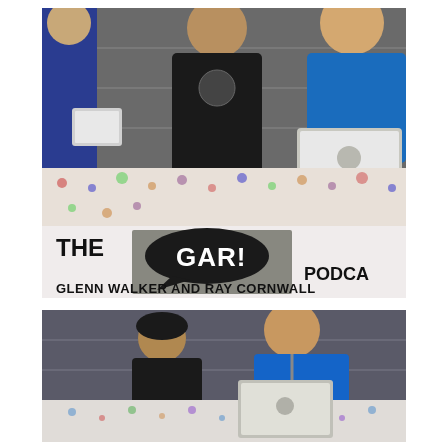[Figure (photo): Photo of three people sitting behind a table with a patterned tablecloth at what appears to be a convention or event. The table has a banner reading 'THE GAR! PODCAST - GLENN WALKER AND RAY CORNWALL'. One person on left in blue, one in center in black hoodie, one on right in blue shirt with an Apple laptop.]
[Figure (photo): Photo of two people seated behind a table at what appears to be an event. Person on left has curly hair wearing dark jacket, person on right wearing blue shirt with a lanyard and Apple laptop on the table in front of them.]